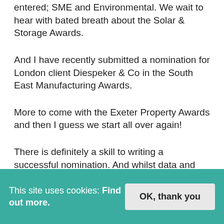entered; SME and Environmental. We wait to hear with bated breath about the Solar & Storage Awards.
And I have recently submitted a nomination for London client Diespeker & Co in the South East Manufacturing Awards.
More to come with the Exeter Property Awards and then I guess we start all over again!
There is definitely a skill to writing a successful nomination. And whilst data and evidence is of paramount importance, it is also crucial to be honest, and to give heart to a nomination.
This site uses cookies: Find out more. OK, thank you